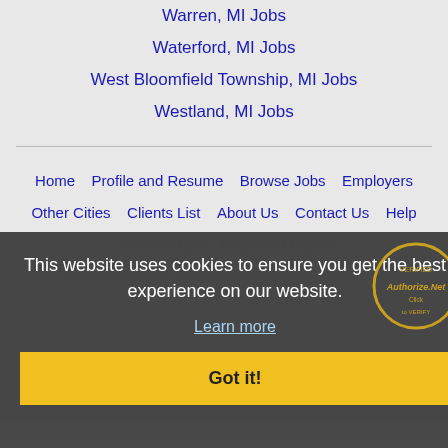Warren, MI Jobs
Waterford, MI Jobs
West Bloomfield Township, MI Jobs
Westland, MI Jobs
Home   Profile and Resume   Browse Jobs   Employers   Other Cities   Clients List   About Us   Contact Us   Help   Terms of Use   Register / Log In
Copyright © 2001 - 2022 Recruiter Media Corporation - Dearborn Heights Jobs
This website uses cookies to ensure you get the best experience on our website.
Learn more
Got it!